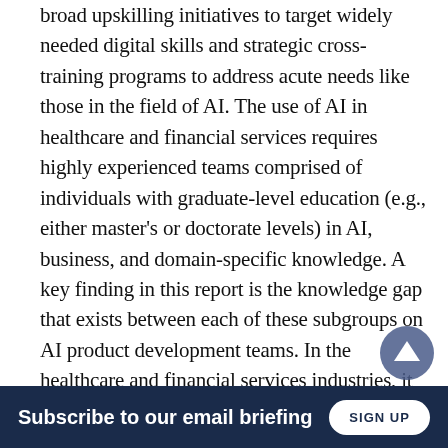broad upskilling initiatives to target widely needed digital skills and strategic cross-training programs to address acute needs like those in the field of AI. The use of AI in healthcare and financial services requires highly experienced teams comprised of individuals with graduate-level education (e.g., either master's or doctorate levels) in AI, business, and domain-specific knowledge. A key finding in this report is the knowledge gap that exists between each of these subgroups on AI product development teams. In the healthcare and financial services industries, it is often the case that domain experts, AI/ML experts and business strategists lack a common understanding of each others areas of expertise, reducing their ability to collaborate
Subscribe to our email briefing  SIGN UP